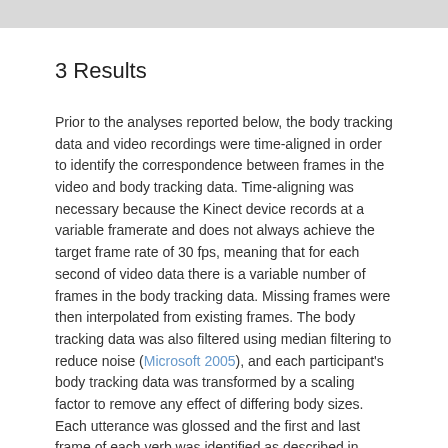[Figure (other): Gray bar at top of page]
3 Results
Prior to the analyses reported below, the body tracking data and video recordings were time-aligned in order to identify the correspondence between frames in the video and body tracking data. Time-aligning was necessary because the Kinect device records at a variable framerate and does not always achieve the target frame rate of 30 fps, meaning that for each second of video data there is a variable number of frames in the body tracking data. Missing frames were then interpolated from existing frames. The body tracking data was also filtered using median filtering to reduce noise (Microsoft 2005), and each participant's body tracking data was transformed by a scaling factor to remove any effect of differing body sizes. Each utterance was glossed and the first and last frame of each verb was identified as described in Flaherty